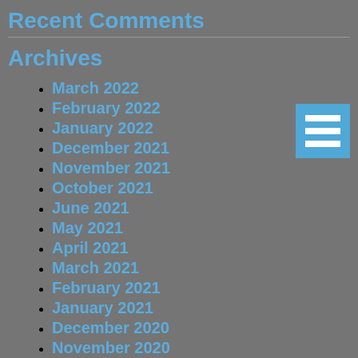Recent Comments
Archives
March 2022
February 2022
January 2022
December 2021
November 2021
October 2021
June 2021
May 2021
April 2021
March 2021
February 2021
January 2021
December 2020
November 2020